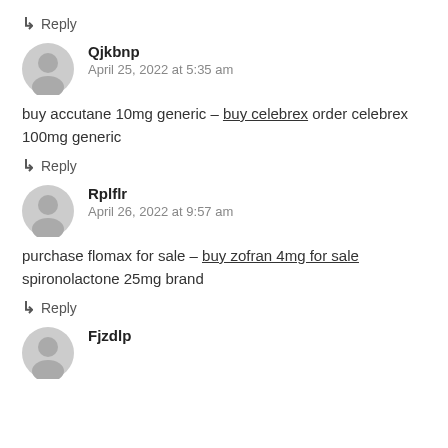↳ Reply
Qjkbnp
April 25, 2022 at 5:35 am
buy accutane 10mg generic – buy celebrex order celebrex 100mg generic
↳ Reply
Rplflr
April 26, 2022 at 9:57 am
purchase flomax for sale – buy zofran 4mg for sale spironolactone 25mg brand
↳ Reply
Fjzdlp